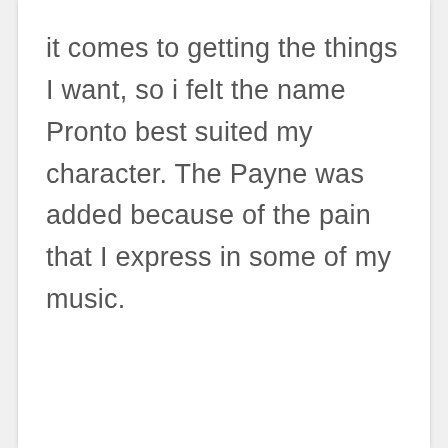it comes to getting the things I want, so i felt the name Pronto best suited my character. The Payne was added because of the pain that I express in some of my music.